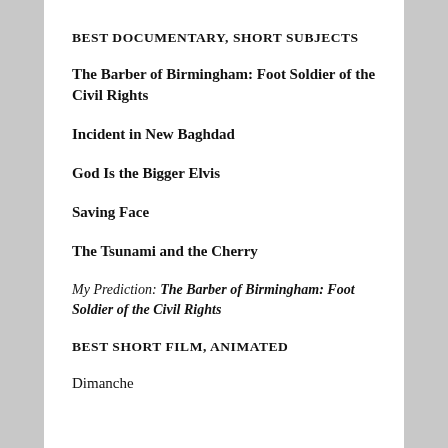BEST DOCUMENTARY, SHORT SUBJECTS
The Barber of Birmingham: Foot Soldier of the Civil Rights
Incident in New Baghdad
God Is the Bigger Elvis
Saving Face
The Tsunami and the Cherry
My Prediction: The Barber of Birmingham: Foot Soldier of the Civil Rights
BEST SHORT FILM, ANIMATED
Dimanche